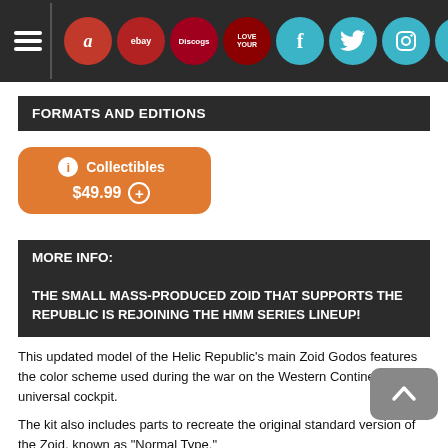Navigation bar with hamburger menu and social/marketplace icons: Amazon, eBay, Discogs, Love, Facebook, Twitter, Instagram, TikTok, Email
FORMATS AND EDITIONS
Collectibles $49.99
MORE INFO:
THE SMALL MASS-PRODUCED ZOID THAT SUPPORTS THE REPUBLIC IS REJOINING THE HMM SERIES LINEUP!
This updated model of the Helic Republic's main Zoid Godos features the color scheme used during the war on the Western Continent and a universal cockpit.
The kit also includes parts to recreate the original standard version of the Zoid, known as "Normal Type."
In addition to the default clear orange, the kit includes colorless clear